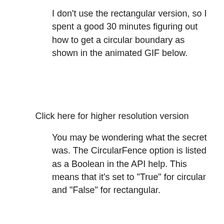I don't use the rectangular version, so I spent a good 30 minutes figuring out how to get a circular boundary as shown in the animated GIF below.
Click here for higher resolution version
You may be wondering what the secret was. The CircularFence option is listed as a Boolean in the API help. This means that it's set to "True" for circular and "False" for rectangular.
[Figure (screenshot): Screenshot of Inventor API help showing Description and Syntax sections for AddDetailView method, with CircularFence parameter highlighted and an arrow pointing to it.]
My iLogic code contains both circular and rectangular options, I have commented out the rectangular part. As the code is mostly from the Inventor API sample, it is quite well commented